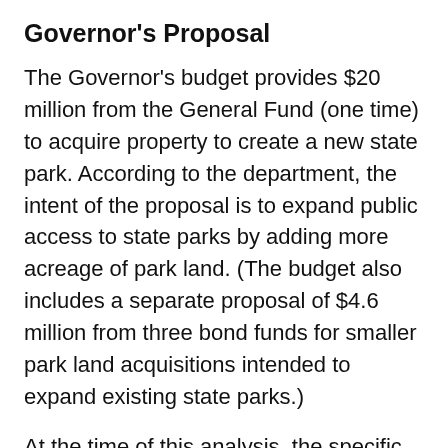Governor's Proposal
The Governor's budget provides $20 million from the General Fund (one time) to acquire property to create a new state park. According to the department, the intent of the proposal is to expand public access to state parks by adding more acreage of park land. (The budget also includes a separate proposal of $4.6 million from three bond funds for smaller park land acquisitions intended to expand existing state parks.)
At the time of this analysis, the specific property, or properties, that the department is considering purchasing have not been identified. The department, however, has developed a list of potential large-acreage properties it is considering. In addition, the administration hopes other landowners will come forward to express interest in selling their property to the state to help identify additional properties.